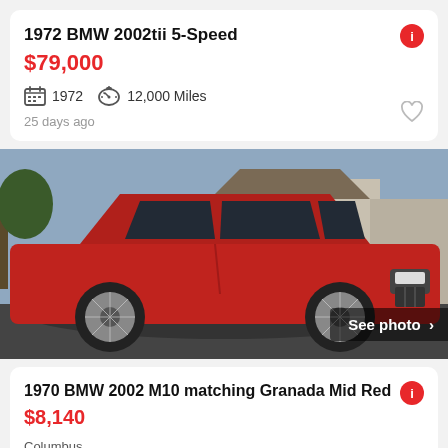1972 BMW 2002tii 5-Speed
$79,000
1972   12,000 Miles
25 days ago
[Figure (photo): Red 1972 BMW 2002tii parked on a street, side and front view, with wire wheels. 'See photo >' overlay in bottom right.]
1970 BMW 2002 M10 matching Granada Mid Red
$8,140
Columbus